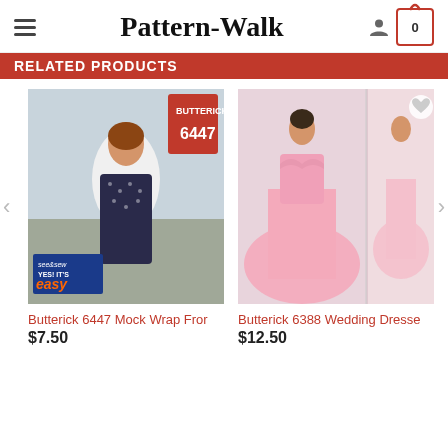Pattern-Walk
RELATED PRODUCTS
[Figure (photo): Product photo of Butterick 6447 Mock Wrap Fron sewing pattern – woman wearing dark polka dot jumper dress with white blouse]
Butterick 6447 Mock Wrap Fror
$7.50
[Figure (photo): Product photo of Butterick 6388 Wedding Dresse sewing pattern – model in strapless pink ball gown]
Butterick 6388 Wedding Dresse
$12.50